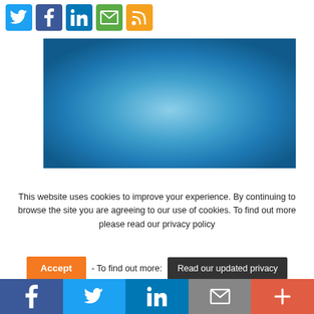[Figure (other): Row of social media sharing icons: Twitter (blue), Facebook (dark blue), LinkedIn (blue), Email/envelope (green), RSS (orange)]
[Figure (photo): Blue gradient background image, landscape orientation, ranging from darker blue at edges to lighter blue-white in center]
This website uses cookies to improve your experience. By continuing to browse the site you are agreeing to our use of cookies. To find out more please read our privacy policy
[Figure (other): Cookie consent buttons: orange Accept button, '- To find out more:' text, and dark Read our updated privacy button]
[Figure (other): Bottom social share bar with five sections: Facebook (dark blue), Twitter (light blue), LinkedIn (blue), Email (grey), Plus/more (red-orange)]